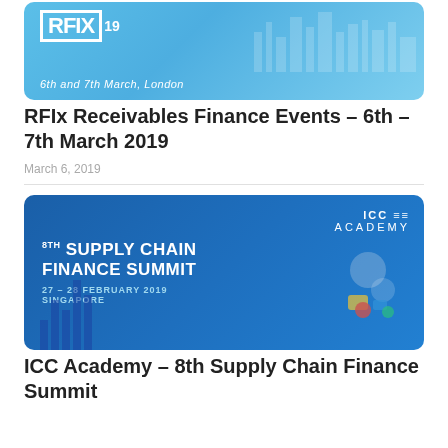[Figure (photo): RFIx 19 event banner — light blue background with city skyline silhouette, white RFIX logo in a box, '19' superscript, text '6th and 7th March, London' in italic white]
RFIx Receivables Finance Events – 6th – 7th March 2019
March 6, 2019
[Figure (photo): 8th Supply Chain Finance Summit banner — dark blue background, bold white text '8th SUPPLY CHAIN FINANCE SUMMIT', date '27 – 28 FEBRUARY 2019', location 'SINGAPORE', ICC Academy logo top right, colorful digital icons illustration on the right side]
ICC Academy – 8th Supply Chain Finance Summit